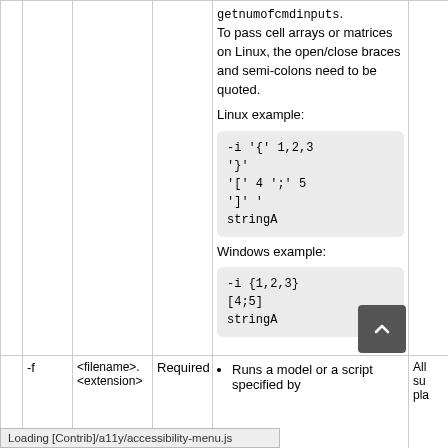|  | -f | <filename>.<extension> | Required | Description | Platforms |
| --- | --- | --- | --- | --- | --- |
|  |  |  |  | getnumofcmdinputs. To pass cell arrays or matrices on Linux, the open/close braces and semi-colons need to be quoted.

Linux example:

-i '{ ' 1,2,3 '}
' [' 4 '; ' 5
'] '
stringA

Windows example:

-i {1,2,3}
[4;5]
stringA |  |
|  | -f | <filename>.<extension> | Required | Runs a model or a script specified by | All su pla |
Loading [Contrib]/a11y/accessibility-menu.js